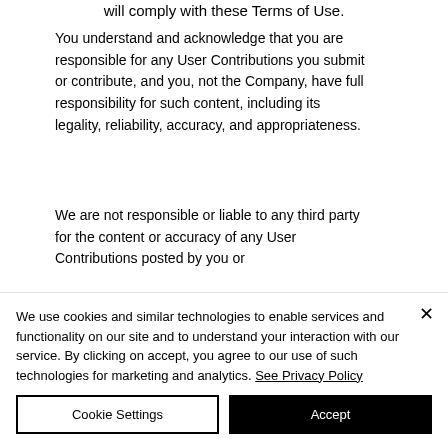will comply with these Terms of Use.
You understand and acknowledge that you are responsible for any User Contributions you submit or contribute, and you, not the Company, have full responsibility for such content, including its legality, reliability, accuracy, and appropriateness.
We are not responsible or liable to any third party for the content or accuracy of any User Contributions posted by you or
We use cookies and similar technologies to enable services and functionality on our site and to understand your interaction with our service. By clicking on accept, you agree to our use of such technologies for marketing and analytics. See Privacy Policy
Cookie Settings
Accept